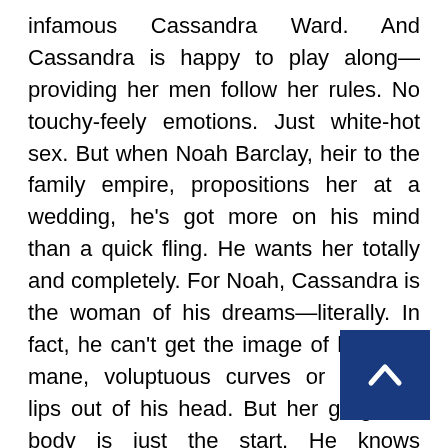infamous Cassandra Ward. And Cassandra is happy to play along—providing her men follow her rules. No touchy-feely emotions. Just white-hot sex. But when Noah Barclay, heir to the family empire, propositions her at a wedding, he's got more on his mind than a quick fling. He wants her totally and completely. For Noah, Cassandra is the woman of his dreams—literally. In fact, he can't get the image of her dark mane, voluptuous curves or kissable lips out of his head. But her gorgeous body is just the start. He knows Cassandra is in need of some TLC, but will a kiss and one sizzling night, which leave her breathlessly begging for more, be all that it takes to convince her?